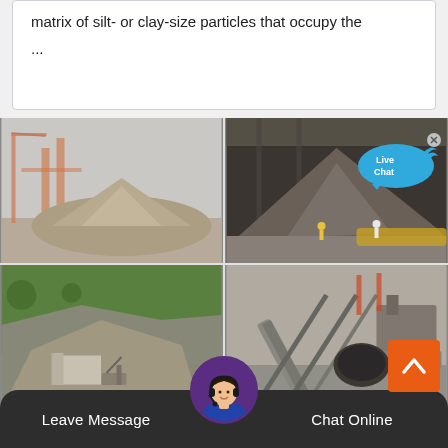matrix of silt- or clay-size particles that occupy the
...
[Figure (photo): Four industrial quarry/mining photos in a 2x2 grid: top-left shows industrial machinery with stockpile of aggregate; top-right shows large pile of crushed stone/gravel in an industrial facility with workers; bottom-left shows a hillside quarry with construction equipment; bottom-right shows conveyor belt and crushing equipment at a mining site.]
[Figure (infographic): Live Chat speech bubble overlay with blue bubble, 'Live Chat' text, and close X button]
[Figure (illustration): Orange scroll-to-top button with upward chevron arrow]
[Figure (photo): Customer service avatar - woman wearing headset]
Leave Message
Chat Online